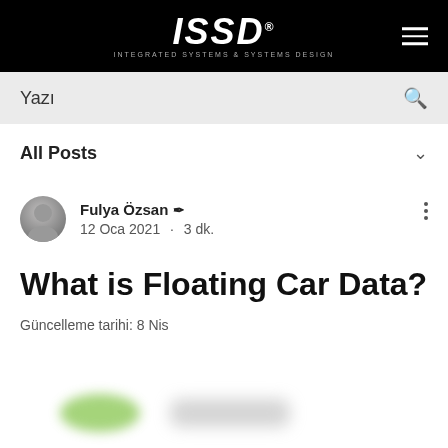ISSD - Integrated Systems & Systems Design
Yazı
All Posts
Fulya Özsan · 12 Oca 2021 · 3 dk.
What is Floating Car Data?
Güncelleme tarihi: 8 Nis
[Figure (photo): Blurred thumbnail image with green and grey blobs at the bottom of the page]